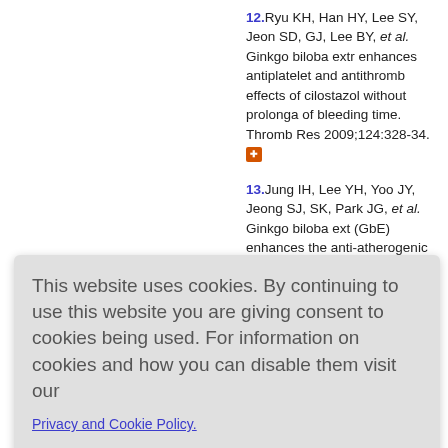12. Ryu KH, Han HY, Lee SY, Jeon SD, GJ, Lee BY, et al. Ginkgo biloba extract enhances antiplatelet and antithromb effects of cilostazol without prolonga of bleeding time. Thromb Res 2009;124:328-34.
13. Jung IH, Lee YH, Yoo JY, Jeong SJ, SK, Park JG, et al. Ginkgo biloba ext (GbE) enhances the anti-atherogenic effect of cilostazol by inhibiting ROS generation. Exp Mol Med 2012;44:31
Shon YM ... neuroprotective effect of ginkgo biloba extract, against changes in rats with hypertension. J Cli...
H, Seo JH ... on of function ... istics of m ... models of noise induced hearing loss ... Auris Nasus Larynx 2013;40:11-7.
This website uses cookies. By continuing to use this website you are giving consent to cookies being used. For information on cookies and how you can disable them visit our Privacy and Cookie Policy.